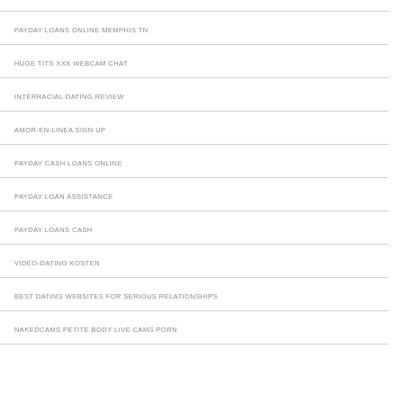PAYDAY LOANS ONLINE MEMPHIS TN
HUGE TITS XXX WEBCAM CHAT
INTERRACIAL DATING REVIEW
AMOR-EN-LINEA SIGN UP
PAYDAY CASH LOANS ONLINE
PAYDAY LOAN ASSISTANCE
PAYDAY LOANS CASH
VIDEO-DATING KOSTEN
BEST DATING WEBSITES FOR SERIOUS RELATIONSHIPS
NAKEDCAMS PETITE BODY LIVE CAMS PORN